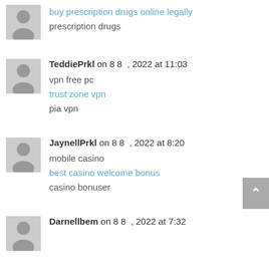buy prescription drugs online legally
prescription drugs
TeddiePrkl on 8 8 , 2022 at 11:03
vpn free pc
trust zone vpn
pia vpn
JaynellPrkl on 8 8 , 2022 at 8:20
mobile casino
best casino welcome bonus
casino bonuser
Darnellbem on 8 8 , 2022 at 7:32